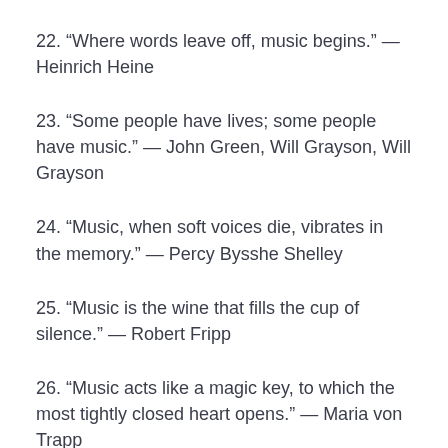22. “Where words leave off, music begins.” — Heinrich Heine
23. “Some people have lives; some people have music.” — John Green, Will Grayson, Will Grayson
24. “Music, when soft voices die, vibrates in the memory.” — Percy Bysshe Shelley
25. “Music is the wine that fills the cup of silence.” — Robert Fripp
26. “Music acts like a magic key, to which the most tightly closed heart opens.” — Maria von Trapp